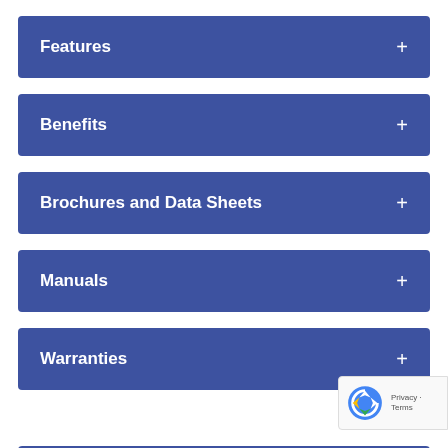Features +
Benefits +
Brochures and Data Sheets +
Manuals +
Warranties +
REQUEST MORE INFORMATION